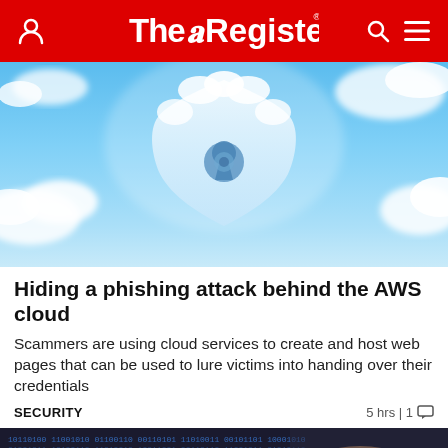The Register
[Figure (photo): Blue sky with clouds shaped into a security shield with a keyhole, representing cloud security / phishing concept]
Hiding a phishing attack behind the AWS cloud
Scammers are using cloud services to create and host web pages that can be used to lure victims into handing over their credentials
SECURITY    5 hrs | 1
[Figure (photo): Partial bottom image showing binary code, partially cut off]